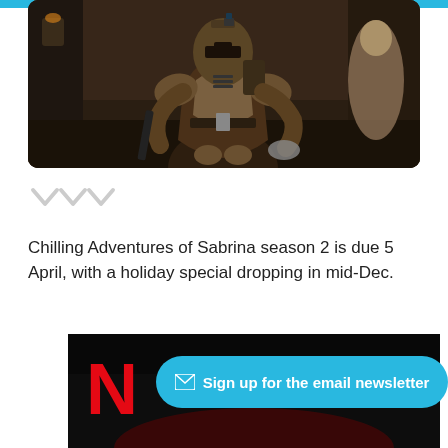[Figure (photo): Hero image of The Mandalorian character in full armor, standing in a dimly lit corridor. Brown/dark tone armor with various equipment and weapons visible.]
[Figure (illustration): Small decorative gray chevron/wave icon (three downward-pointing chevrons)]
Chilling Adventures of Sabrina season 2 is due 5 April, with a holiday special dropping in mid-Dec.
[Figure (screenshot): Netflix interface screenshot showing dark background with Netflix N logo in red, overlaid with a cyan 'Sign up for the email newsletter' button with envelope icon.]